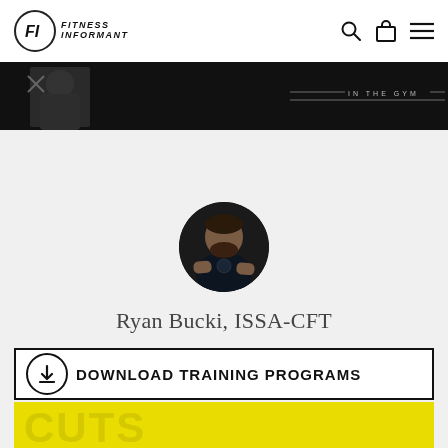Fitness Informant
[Figure (photo): Dark gym image strip at top of page showing partial figure with 'IN THE GYM' text]
[Figure (photo): Circular profile photo of Ryan Bucki, a muscular man with a beard wearing a dark shirt with arms crossed]
Ryan Bucki, ISSA-CFT
[Figure (other): Download Training Programs banner with download icon and black border]
[Figure (other): Yellow bar at bottom of page]